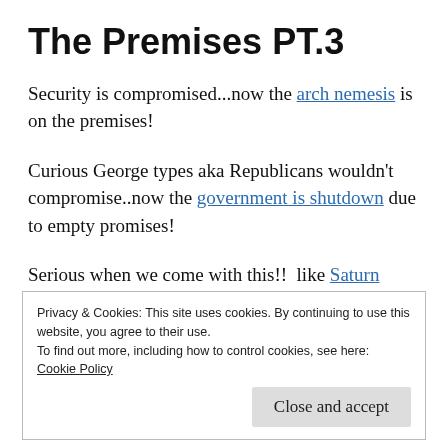The Premises PT.3
Security is compromised...now the arch nemesis is on the premises!
Curious George types aka Republicans wouldn't compromise..now the government is shutdown due to empty promises!
Serious when we come with this!!  like Saturn
Privacy & Cookies: This site uses cookies. By continuing to use this website, you agree to their use.
To find out more, including how to control cookies, see here:
Cookie Policy
Close and accept